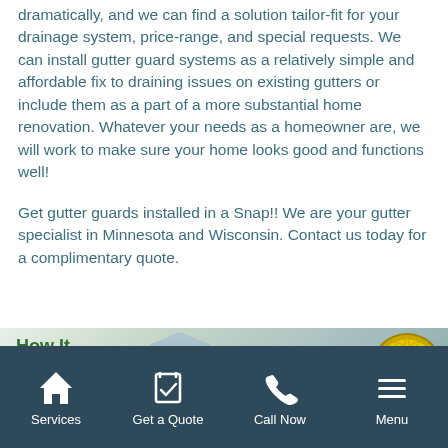dramatically, and we can find a solution tailor-fit for your drainage system, price-range, and special requests. We can install gutter guard systems as a relatively simple and affordable fix to draining issues on existing gutters or include them as a part of a more substantial home renovation. Whatever your needs as a homeowner are, we will work to make sure your home looks good and functions well!
Get gutter guards installed in a Snap!! We are your gutter specialist in Minnesota and Wisconsin. Contact us today for a complimentary quote.
[Figure (infographic): Banner image showing 'How It Works.' text on the left, a building graphic in the center, the Snap!! brand logo in red/orange italic text, small descriptive text, and a gold 'No Clog 20' guarantee stamp on the right.]
Services | Get a Quote | Call Now | Menu